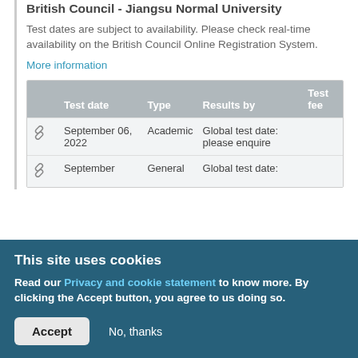British Council - Jiangsu Normal University
Test dates are subject to availability. Please check real-time availability on the British Council Online Registration System.
More information
|  | Test date | Type | Results by | Test fee |
| --- | --- | --- | --- | --- |
| 🔗 | September 06, 2022 | Academic | Global test date: please enquire |  |
| 🔗 | September | General | Global test date: |  |
This site uses cookies
Read our Privacy and cookie statement to know more. By clicking the Accept button, you agree to us doing so.